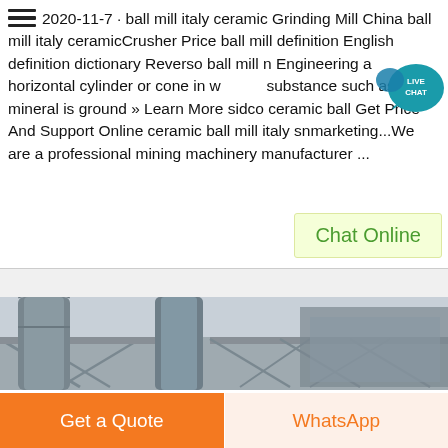2020-11-7 · ball mill italy ceramic Grinding Mill China ball mill italy ceramicCrusher Price ball mill definition English definition dictionary Reverso ball mill n Engineering a horizontal cylinder or cone in which a substance such as a mineral is ground » Learn More sidco ceramic ball Get Price And Support Online ceramic ball mill italy snmarketing...We are a professional mining machinery manufacturer ...
[Figure (other): Live Chat bubble/icon in teal with text LIVE CHAT]
[Figure (other): Chat Online button with light yellow-green background]
[Figure (photo): Industrial machinery photo showing large cylindrical metal pipes and structural steel framework against a grey sky]
[Figure (other): Get a Quote button (orange) and WhatsApp button (light peach/orange text) at bottom of page]